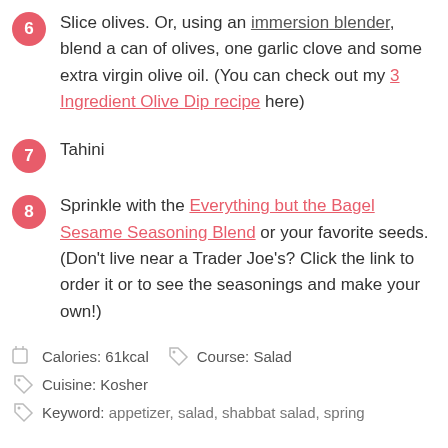6 – Slice olives. Or, using an immersion blender, blend a can of olives, one garlic clove and some extra virgin olive oil. (You can check out my 3 Ingredient Olive Dip recipe here)
7 – Tahini
8 – Sprinkle with the Everything but the Bagel Sesame Seasoning Blend or your favorite seeds. (Don't live near a Trader Joe's? Click the link to order it or to see the seasonings and make your own!)
Calories: 61kcal    Course: Salad
Cuisine: Kosher
Keyword: appetizer, salad, shabbat salad, spring